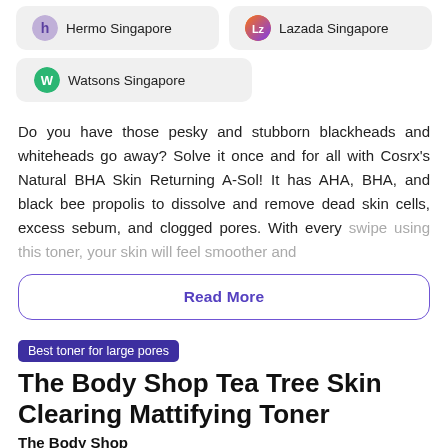Hermo Singapore
Lazada Singapore
Watsons Singapore
Do you have those pesky and stubborn blackheads and whiteheads go away? Solve it once and for all with Cosrx's Natural BHA Skin Returning A-Sol! It has AHA, BHA, and black bee propolis to dissolve and remove dead skin cells, excess sebum, and clogged pores. With every swipe using this toner, your skin will feel smoother and
Read More
Best toner for large pores
The Body Shop Tea Tree Skin Clearing Mattifying Toner
The Body Shop